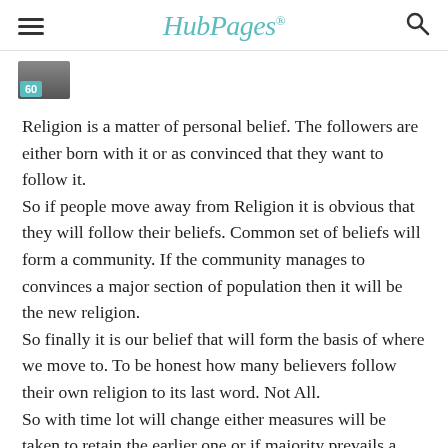HubPages
[Figure (photo): Author avatar thumbnail with score badge showing 60]
Religion is a matter of personal belief. The followers are either born with it or as convinced that they want to follow it. So if people move away from Religion it is obvious that they will follow their beliefs. Common set of beliefs will form a community. If the community manages to convinces a major section of population then it will be the new religion. So finally it is our belief that will form the basis of where we move to. To be honest how many believers follow their own religion to its last word. Not All. So with time lot will change either measures will be taken to retain the earlier one or if majority prevails a new religion will take over the earlier ones.